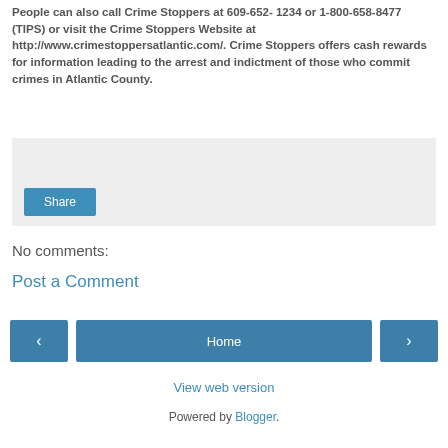People can also call Crime Stoppers at 609-652- 1234 or 1-800-658-8477 (TIPS) or visit the Crime Stoppers Website at http://www.crimestoppersatlantic.com/. Crime Stoppers offers cash rewards for information leading to the arrest and indictment of those who commit crimes in Atlantic County.
[Figure (screenshot): Light gray share box with a blue Share button in the lower left]
No comments:
Post a Comment
[Figure (screenshot): Navigation row with left arrow button, Home button, and right arrow button]
View web version
Powered by Blogger.